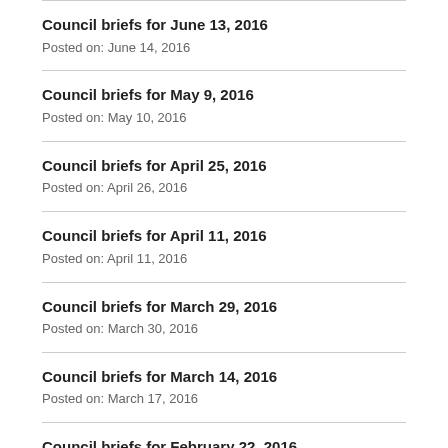Council briefs for June 13, 2016
Posted on: June 14, 2016
Council briefs for May 9, 2016
Posted on: May 10, 2016
Council briefs for April 25, 2016
Posted on: April 26, 2016
Council briefs for April 11, 2016
Posted on: April 11, 2016
Council briefs for March 29, 2016
Posted on: March 30, 2016
Council briefs for March 14, 2016
Posted on: March 17, 2016
Council briefs for February 22, 2016
Posted on: February 23, 2016